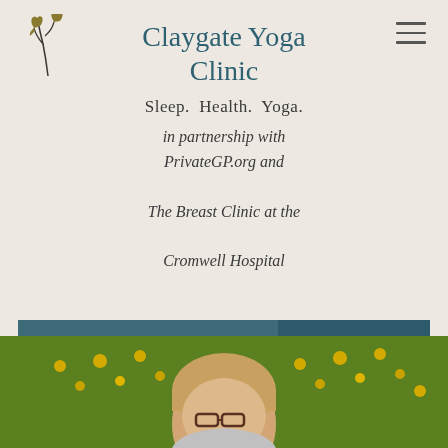[Figure (logo): Decorative plant/leaf logo with two heart-shaped leaves on a stem, golden/olive color]
Claygate Yoga Clinic
Sleep.  Health.  Yoga.
in partnership with PrivateGP.org and The Breast Clinic at the Cromwell Hospital
Group classes, health assessment, therapeutic yoga, massage and more
Book Now
[Figure (photo): Woman with blonde hair and glasses smiling outdoors with yellow flowers in background]